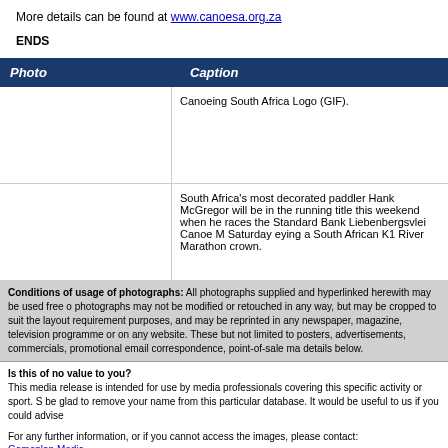More details can be found at www.canoesa.org.za
ENDS
| Photo | Caption |
| --- | --- |
|  | Canoeing South Africa Logo (GIF). |
|  | South Africa's most decorated paddler Hank McGregor will be in the running title this weekend when he races the Standard Bank Liebenbergsvlei Canoe M Saturday eying a South African K1 River Marathon crown. |
Conditions of usage of photographs: All photographs supplied and hyperlinked herewith may be used free of charge photographs may not be modified or retouched in any way, but may be cropped to suit the layout requirements purposes, and may be reprinted in any newspaper, magazine, television programme or on any website. These but not limited to posters, advertisements, commercials, promotional email correspondence, point-of-sale ma details below.
Is this of no value to you? This media release is intended for use by media professionals covering this specific activity or sport. be glad to remove your name from this particular database. It would be useful to us if you could advise
For any further information, or if you cannot access the images, please contact:
Gameplan Media
(031) 764 3017